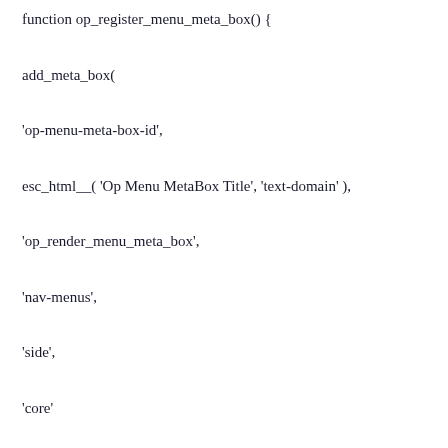function op_register_menu_meta_box() {

add_meta_box(

'op-menu-meta-box-id',

esc_html__( 'Op Menu MetaBox Title', 'text-domain' ),

'op_render_menu_meta_box',

'nav-menus',

'side',

'core'

);

}

add_action(                           'load-nav-menus.php',
'op_register_menu_meta_box' );